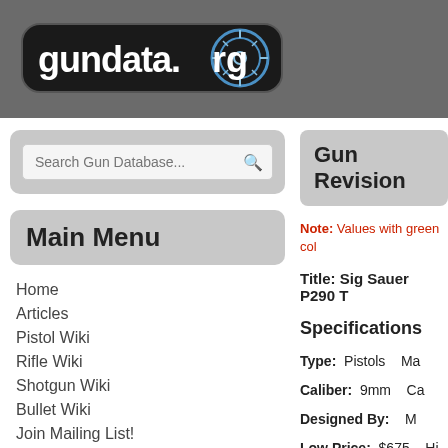[Figure (logo): gundata.org logo with crosshair/scope sight graphic, white text on dark rounded badge background]
Search Gun Database...
Main Menu
Home
Articles
Pistol Wiki
Rifle Wiki
Shotgun Wiki
Bullet Wiki
Join Mailing List!
Gun Revision
Note: Values with green col
Title: Sig Sauer P290 T
Specifications
Type: Pistols   Ma
Caliber: 9mm   Ca
Designed By:   M
Low Price: $675   Hi